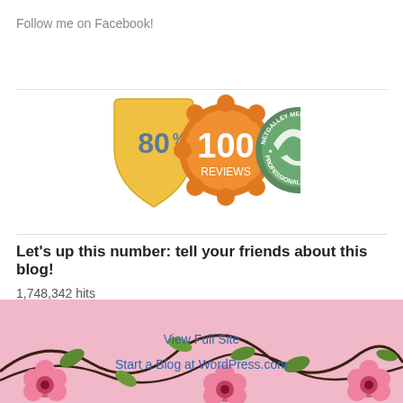Follow me on Facebook!
[Figure (illustration): Three badges: an 80% yellow shield badge, a '100 REVIEWS' orange flower badge, and a 'NetGalley Member Professional Reads' green circle badge]
Let's up this number: tell your friends about this blog!
1,748,342 hits
[Figure (illustration): Pink floral decorative footer banner with dark stems and pink flowers]
View Full Site
Start a Blog at WordPress.com